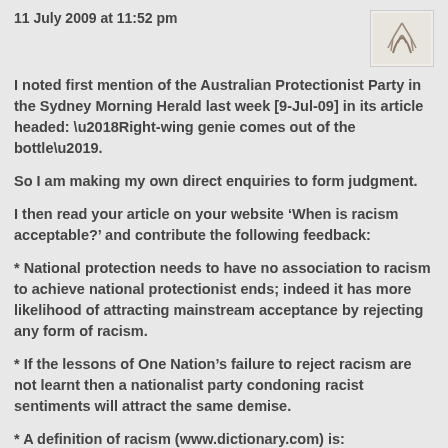11 July 2009 at 11:52 pm
I noted first mention of the Australian Protectionist Party in the Sydney Morning Herald last week [9-Jul-09] in its article headed: ‘Right-wing genie comes out of the bottle’.
So I am making my own direct enquiries to form judgment.
I then read your article on your website ‘When is racism acceptable?’ and contribute the following feedback:
* National protection needs to have no association to racism to achieve national protectionist ends; indeed it has more likelihood of attracting mainstream acceptance by rejecting any form of racism.
* If the lessons of One Nation’s failure to reject racism are not learnt then a nationalist party condoning racist sentiments will attract the same demise.
* A definition of racism (www.dictionary.com) is: